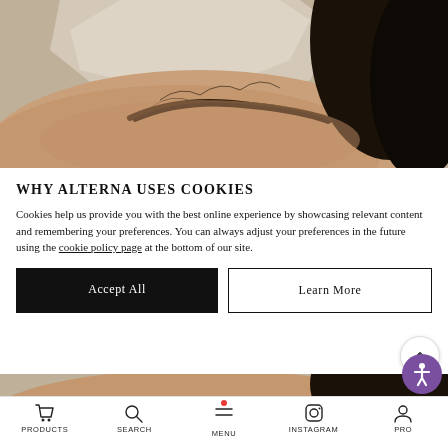[Figure (photo): Close-up photo of a person's hairline and eyebrow area, with clay/plaster texture visible. Person has dark curly hair.]
WHY ALTERNA USES COOKIES
Cookies help us provide you with the best online experience by showcasing relevant content and remembering your preferences. You can always adjust your preferences in the future using the cookie policy page at the bottom of our site.
[Figure (photo): Partial bottom view of same hairline/scalp photo with clay texture.]
PRODUCTS   SEARCH   MENU   INSTAGRAM   PRO